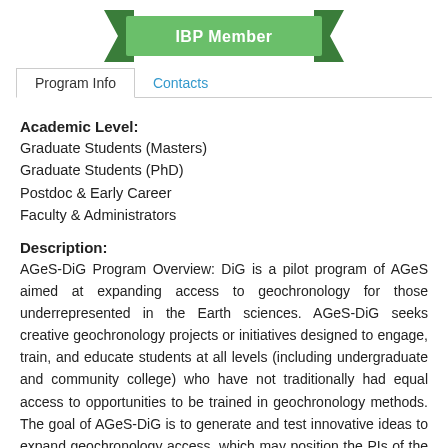[Figure (illustration): Green ribbon banner with text 'IBP Member']
Program Info | Contacts (tab navigation)
Academic Level:
Graduate Students (Masters)
Graduate Students (PhD)
Postdoc & Early Career
Faculty & Administrators
Description:
AGeS-DiG Program Overview: DiG is a pilot program of AGeS aimed at expanding access to geochronology for those underrepresented in the Earth sciences. AGeS-DiG seeks creative geochronology projects or initiatives designed to engage, train, and educate students at all levels (including undergraduate and community college) who have not traditionally had equal access to opportunities to be trained in geochronology methods. The goal of AGeS-DiG is to generate and test innovative ideas to expand geochronology access, which may position the PIs of the most impactful projects to successfully seek future support from funding